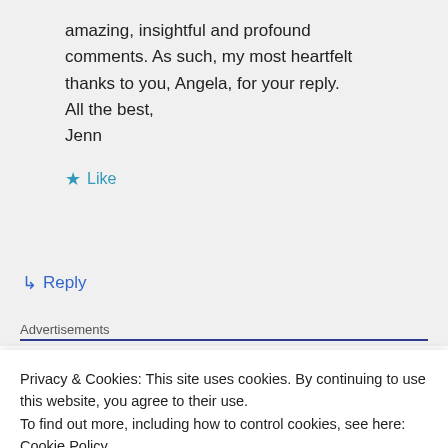amazing, insightful and profound comments. As such, my most heartfelt thanks to you, Angela, for your reply.
All the best,
Jenn
★ Like
↳ Reply
Advertisements
ThePlatform Where WordPress Works Best   ☐ Pressable
Privacy & Cookies: This site uses cookies. By continuing to use this website, you agree to their use.
To find out more, including how to control cookies, see here: Cookie Policy
Close and accept